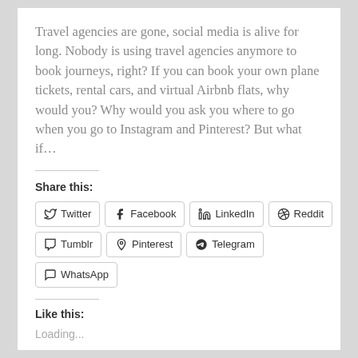Travel agencies are gone, social media is alive for long. Nobody is using travel agencies anymore to book journeys, right? If you can book your own plane tickets, rental cars, and virtual Airbnb flats, why would you? Why would you ask you where to go when you go to Instagram and Pinterest? But what if...
Share this:
Twitter  Facebook  LinkedIn  Reddit  Tumblr  Pinterest  Telegram  WhatsApp
Like this:
Loading...